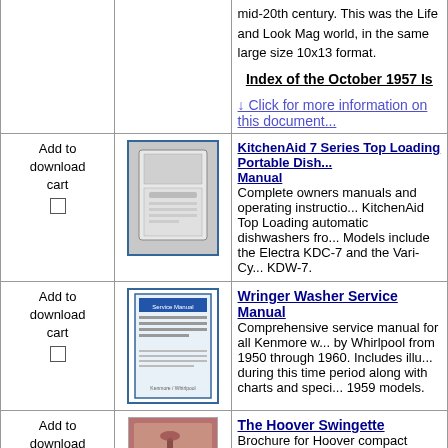mid-20th century. This was the Life and Look Magazine world, in the same large size 10x13 format.
Index of the October 1957 Is...
↓ Click for more information on this document...
Add to download cart
[Figure (photo): KitchenAid dishwasher product image]
KitchenAid 7 Series Top Loading Portable Dish... Manual Complete owners manuals and operating instructio... KitchenAid Top Loading automatic dishwashers fro... Models include the Electra KDC-7 and the Vari-Cy... KDW-7.
Add to download cart
[Figure (photo): Wringer Washer Service Manual cover image]
Wringer Washer Service Manual Comprehensive service manual for all Kenmore w... by Whirlpool from 1950 through 1960. Includes illu... during this time period along with charts and speci... 1959 models.
Add to download cart
[Figure (photo): The Hoover Swingette brochure cover image]
The Hoover Swingette Brochure for Hoover compact Swingette vacuum,